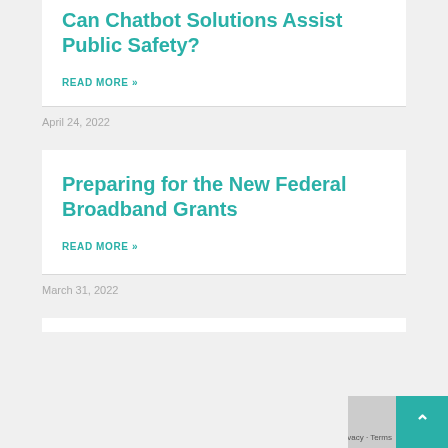Can Chatbot Solutions Assist Public Safety?
READ MORE »
April 24, 2022
Preparing for the New Federal Broadband Grants
READ MORE »
March 31, 2022
Privacy · Terms